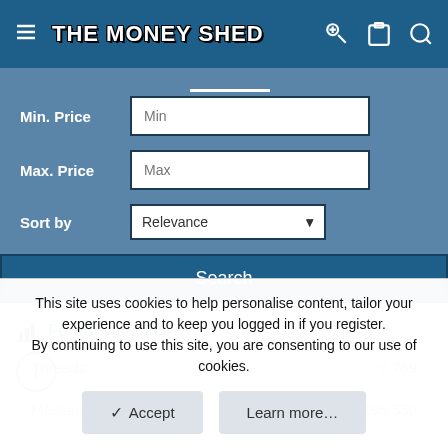THE MONEY SHED
Min. Price: Min (input field)
Max. Price: Max (input field)
Sort by: Relevance (dropdown)
Search
Forum statistics
| Stat | Value |
| --- | --- |
| Threads: | 6,769 |
| Messages: | 195,550 |
This site uses cookies to help personalise content, tailor your experience and to keep you logged in if you register.
By continuing to use this site, you are consenting to our use of cookies.